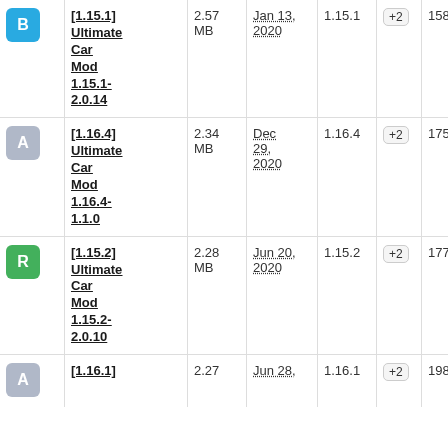| Badge | Name | Size | Date | Version | + | Count | Download |  |
| --- | --- | --- | --- | --- | --- | --- | --- | --- |
| B | [1.15.1] Ultimate Car Mod 1.15.1-2.0.14 | 2.57 MB | Jan 13, 2020 | 1.15.1 | +2 | 158 | ↓ |  |
| A | [1.16.4] Ultimate Car Mod 1.16.4-1.1.0 | 2.34 MB | Dec 29, 2020 | 1.16.4 | +2 | 175 | ↓ |  |
| R | [1.15.2] Ultimate Car Mod 1.15.2-2.0.10 | 2.28 MB | Jun 20, 2020 | 1.15.2 | +2 | 177 | ↓ |  |
| A | [1.16.1] | 2.27 | Jun 28, | 1.16.1 | +2 | 198 | ↓ |  |